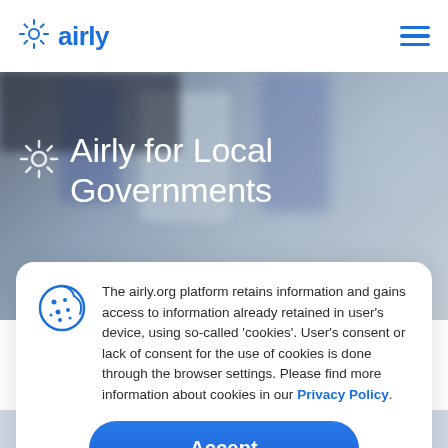airly
[Figure (screenshot): Hero background photo of blurred desk with blue vertical objects (possibly air quality sensors), dark and light tones]
Airly for Local Governments
The airly.org platform retains information and gains access to information already retained in user's device, using so-called 'cookies'. User's consent or lack of consent for the use of cookies is done through the browser settings. Please find more information about cookies in our Privacy Policy.
Accept
challenges every local government faces